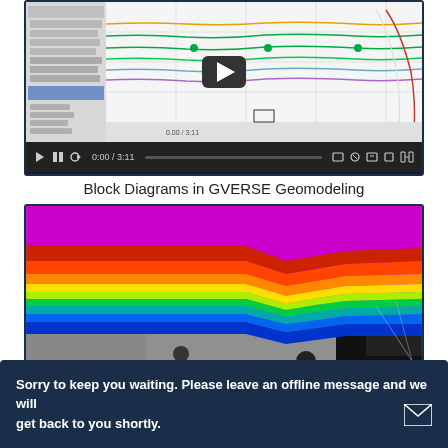[Figure (screenshot): Video player showing a seismic/geomodeling software interface with waveform lines and a tree view panel on the left. Video controls bar at bottom showing 0:00/3:11.]
Block Diagrams in GVERSE Geomodeling
[Figure (photo): 3D geomodeling block diagram showing colorful seismic stratigraphy layers (red, yellow, green, blue) against a gray terrain surface with black void areas, representing GVERSE Geomodeling output.]
[Figure (screenshot): Partially visible screenshot at the bottom of the page, cut off.]
Sorry to keep you waiting. Please leave an offline message and we will get back to you shortly.